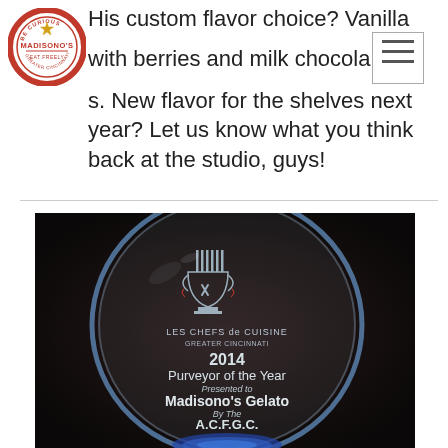[Figure (logo): Madisono's circular logo with red border, star, and text 'BE CURIOUS', 'MADISONO'S', 'EAT FREELY', 'GREATER CINCINNATI']
His custom flavor choice? Vanilla with berries and milk chocolates. New flavor for the shelves next year? Let us know what you think back at the studio, guys!
[Figure (photo): Photograph of a circular glass award plaque reading '2014 Purveyor of the Year Presented to Madisono's Gelato By The A.C.F.G.C.' with Les Chefs de Cuisine Greater Cincinnati logo engraved, sitting on a dark background with blue base visible at bottom.]